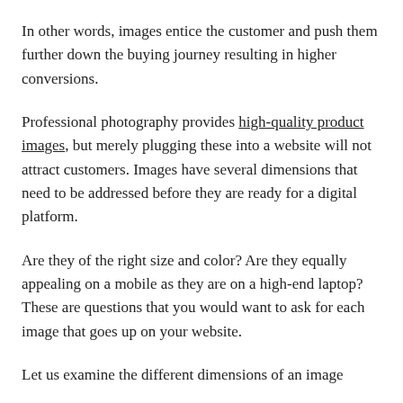In other words, images entice the customer and push them further down the buying journey resulting in higher conversions.
Professional photography provides high-quality product images, but merely plugging these into a website will not attract customers. Images have several dimensions that need to be addressed before they are ready for a digital platform.
Are they of the right size and color? Are they equally appealing on a mobile as they are on a high-end laptop? These are questions that you would want to ask for each image that goes up on your website.
Let us examine the different dimensions of an image